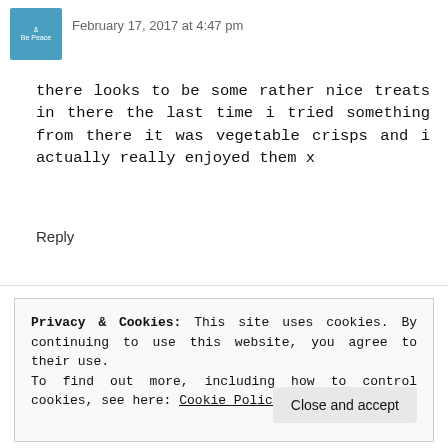February 17, 2017 at 4:47 pm
there looks to be some rather nice treats in there the last time i tried something from there it was vegetable crisps and i actually really enjoyed them x
Reply
Privacy & Cookies: This site uses cookies. By continuing to use this website, you agree to their use.
To find out more, including how to control cookies, see here: Cookie Policy
Close and accept